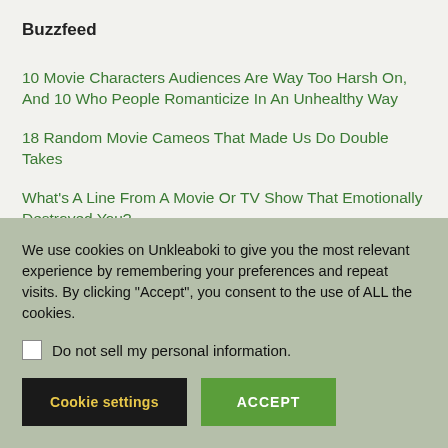Buzzfeed
10 Movie Characters Audiences Are Way Too Harsh On, And 10 Who People Romanticize In An Unhealthy Way
18 Random Movie Cameos That Made Us Do Double Takes
What's A Line From A Movie Or TV Show That Emotionally Destroyed You?
People Are Sharing Fictional Characters That Fans "Idolize," But Only Because They're "Missing The Point"
We use cookies on Unkleaboki to give you the most relevant experience by remembering your preferences and repeat visits. By clicking “Accept”, you consent to the use of ALL the cookies.
Do not sell my personal information.
Cookie settings
ACCEPT